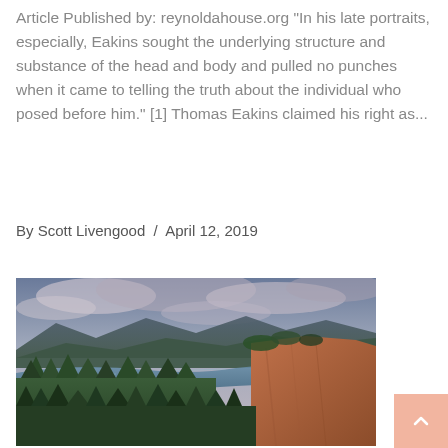Article Published by: reynoldahouse.org "In his late portraits, especially, Eakins sought the underlying structure and substance of the head and body and pulled no punches when it came to telling the truth about the individual who posed before him." [1] Thomas Eakins claimed his right as...
By Scott Livengood  /  April 12, 2019
[Figure (photo): Scenic landscape photo of a river gorge with mountains in the background, forested hills, a river running through the middle distance, and dramatic cloudy sky with purplish hues. A reddish-brown cliff face is visible on the right side.]